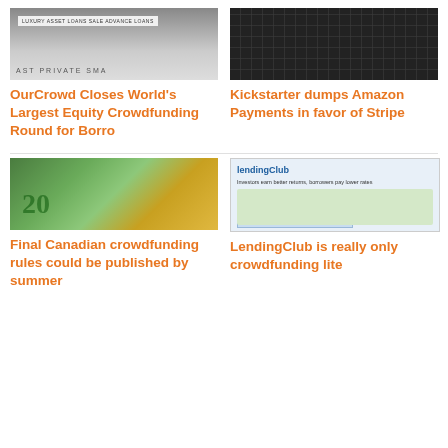[Figure (screenshot): Screenshot of Borro luxury asset loans website header]
OurCrowd Closes World’s Largest Equity Crowdfunding Round for Borro
[Figure (photo): Close-up photo of computer keyboard keys]
Kickstarter dumps Amazon Payments in favor of Stripe
[Figure (photo): Photo of Canadian $20 bills fanned out with zipper]
Final Canadian crowdfunding rules could be published by summer
[Figure (screenshot): Screenshot of LendingClub website homepage]
LendingClub is really only crowdfunding lite